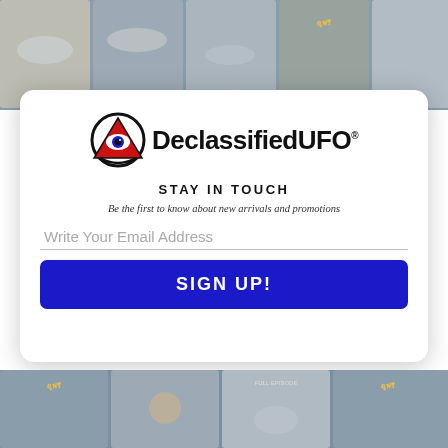[Figure (screenshot): Background collage of UFO-themed video thumbnails at top]
[Figure (logo): DeclassifiedUFO logo with eye-in-triangle symbol and bold text]
STAY IN TOUCH
Be the first to know about new arrivals and promotions
Write Your Email Address
SIGN UP!
[Figure (screenshot): Background collage of UFO-themed video thumbnails at bottom]